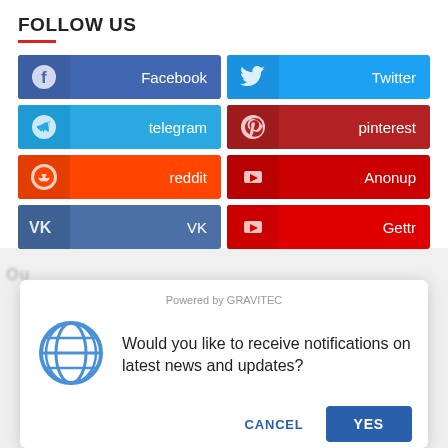FOLLOW US
[Figure (infographic): Social media follow buttons grid: Facebook (blue), Twitter (light blue), telegram (blue), pinterest (dark red), reddit (orange-red), Anonup (red), VK (steel blue), Gettr (red). Each button shows an icon on the left and the platform name on the right.]
[Figure (screenshot): Browser notification popup dialog. 'Powered by GRAVITEC' at top. Globe icon on left. Text: 'Would you like to receive notifications on latest news and updates?' CANCEL and YES buttons at bottom.]